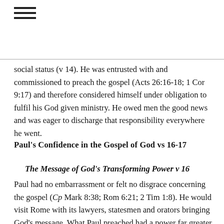≡
social status (v 14). He was entrusted with and commissioned to preach the gospel (Acts 26:16-18; 1 Cor 9:17) and therefore considered himself under obligation to fulfil his God given ministry. He owed men the good news and was eager to discharge that responsibility everywhere he went.
Paul's Confidence in the Gospel of God vs 16-17
The Message of God's Transforming Power v 16
Paul had no embarrassment or felt no disgrace concerning the gospel (Cp Mark 8:38; Rom 6:21; 2 Tim 1:8). He would visit Rome with its lawyers, statesmen and orators bringing God's message. What Paul preached had a power far greater than the might of Rome. It transformed lives, delivered souls and imparted righteousness. Paul would stand among the Romans with humility to share with…